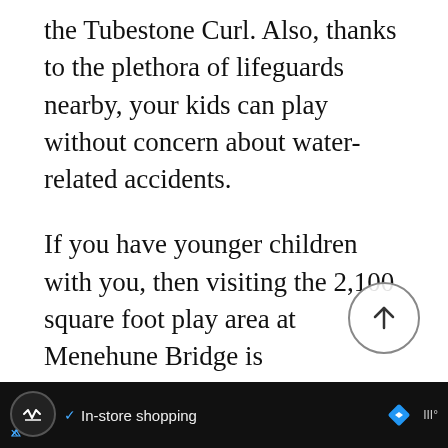the Tubestone Curl. Also, thanks to the plethora of lifeguards nearby, your kids can play without concern about water-related accidents.
If you have younger children with you, then visiting the 2,100 square foot play area at Menehune Bridge is recommended. Here you will find two waterslides, various interactive water elements, and a play structure your kids can climb on.
During their playtime in this area, your